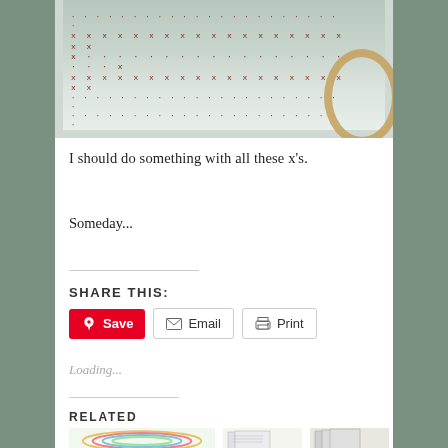[Figure (photo): Cross-stitch embroidery work in progress on canvas fabric, showing x-pattern stitches in red/dark color, with a wooden embroidery hoop visible at the right side]
I should do something with all these x's.
Someday...
SHARE THIS:
Loading...
RELATED
[Figure (photo): Related post image showing colorful quilling or paper craft]
[Figure (photo): Related post image showing a document or pattern sheet]
[Figure (photo): Related post image showing papers or patterns]